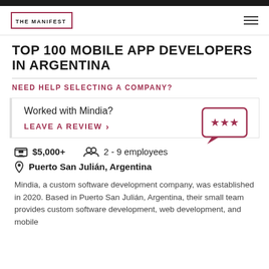THE MANIFEST
TOP 100 MOBILE APP DEVELOPERS IN ARGENTINA
NEED HELP SELECTING A COMPANY?
Worked with Mindia?
LEAVE A REVIEW >
$5,000+
2 - 9 employees
Puerto San Julián, Argentina
Mindia, a custom software development company, was established in 2020. Based in Puerto San Julián, Argentina, their small team provides custom software development, web development, and mobile